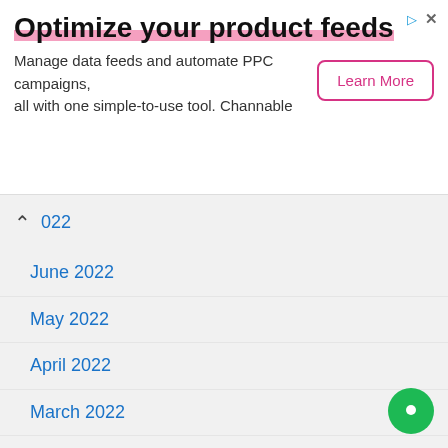[Figure (other): Advertisement banner: Optimize your product feeds - Manage data feeds and automate PPC campaigns, all with one simple-to-use tool. Channable. Learn More button.]
2022
June 2022
May 2022
April 2022
March 2022
February 2022
January 2022
December 2021
November 2021
October 2021
September 2021